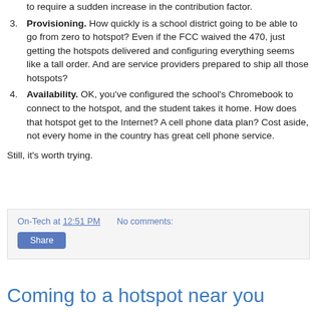to require a sudden increase in the contribution factor.
3. Provisioning.  How quickly is a school district going to be able to go from zero to hotspot?  Even if the FCC waived the 470, just getting the hotspots delivered and configuring everything seems like a tall order.  And are service providers prepared to ship all those hotspots?
4. Availability.  OK, you've configured the school's Chromebook to connect to the hotspot, and the student takes it home.  How does that hotspot get to the Internet?  A cell phone data plan?  Cost aside, not every home in the country has great cell phone service.
Still, it's worth trying.
On-Tech at 12:51 PM   No comments:   Share
Coming to a hotspot near you